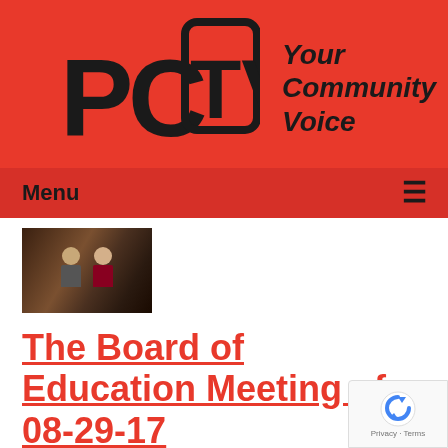[Figure (logo): PCTV Your Community Voice logo on red background with stylized PC and TV lettering]
Menu ≡
[Figure (photo): Thumbnail photo of two people seated at a table, appearing to be at a board meeting]
The Board of Education Meeting of 08-29-17
Airdate: 08/29/2017
Watched: 10 times